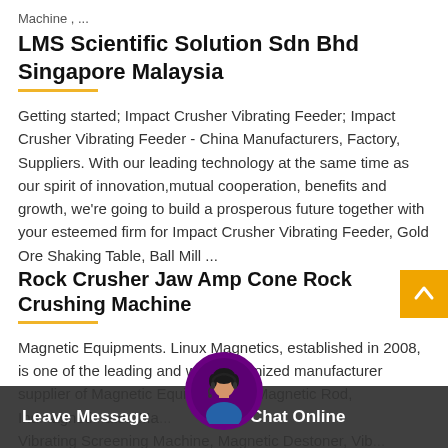Machine , ...
LMS Scientific Solution Sdn Bhd Singapore Malaysia
Getting started; Impact Crusher Vibrating Feeder; Impact Crusher Vibrating Feeder - China Manufacturers, Factory, Suppliers. With our leading technology at the same time as our spirit of innovation,mutual cooperation, benefits and growth, we're going to build a prosperous future together with your esteemed firm for Impact Crusher Vibrating Feeder, Gold Ore Shaking Table, Ball Mill ...
Rock Crusher Jaw Amp Cone Rock Crushing Machine
Magnetic Equipments. Linux Magnetics, established in 2008, is one of the leading and well-recognized manufacturer supplier of Magnetic Equip... such as Magnetic Rod, Ind...agneti...ator, Ma...Vibrating Screening Machine, Magnetic Destoner, Vib...
Leave Message   Chat Online